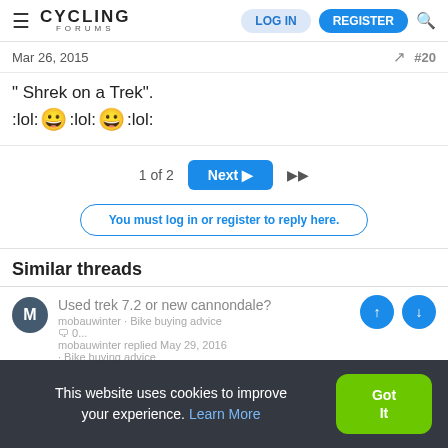CYCLING FORUMS | LOG IN | REGISTER
Mar 26, 2015   #20
" Shrek on a Trek".
:lol: 😀 :lol: 😀 :lol:
1 of 2   Next ▶▶
You must log in or register to reply here.
Similar threads
Used trek 7.2 or new cannondale?
mobauwinter · Bike buying advice
🗨 0...
mobauwinter replied May 29, 2016
· Bike buying advice
This website uses cookies to improve your experience. Learn More  Got It